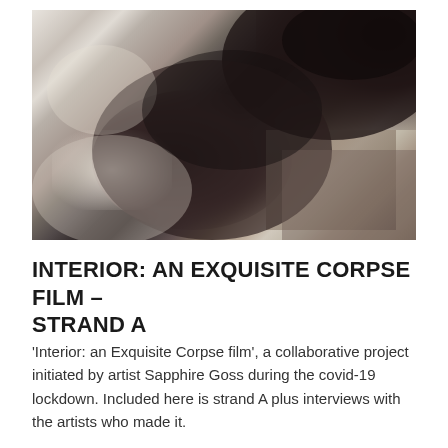[Figure (photo): Black and white film still or photograph showing abstract dark shapes, blurred forms suggesting a human figure or silhouette, with areas of light and shadow in grainy monochrome tones.]
INTERIOR: AN EXQUISITE CORPSE FILM – STRAND A
'Interior: an Exquisite Corpse film', a collaborative project initiated by artist Sapphire Goss during the covid-19 lockdown. Included here is strand A plus interviews with the artists who made it.